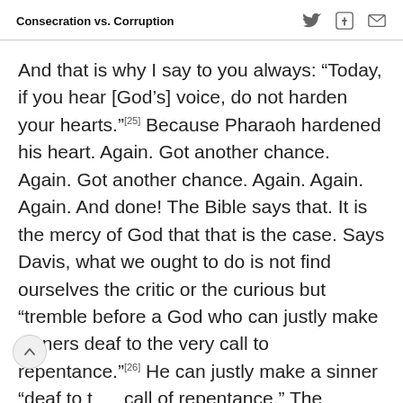Consecration vs. Corruption
And that is why I say to you always: “Today, if you hear [God’s] voice, do not harden your hearts.”[25] Because Pharaoh hardened his heart. Again. Got another chance. Again. Got another chance. Again. Again. Again. And done! The Bible says that. It is the mercy of God that that is the case. Says Davis, what we ought to do is not find ourselves the critic or the curious but “tremble before a God who can justly make sinners deaf to the very call to repentance.”[26] He can justly make a sinner “deaf to the call of repentance.” The person says, “I don’t care. I don’t care.” “Do you realize…? “No, I don’t